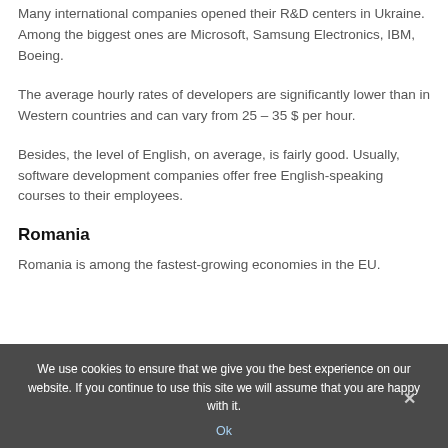Many international companies opened their R&D centers in Ukraine. Among the biggest ones are Microsoft, Samsung Electronics, IBM, Boeing.
The average hourly rates of developers are significantly lower than in Western countries and can vary from 25 – 35 $ per hour.
Besides, the level of English, on average, is fairly good. Usually, software development companies offer free English-speaking courses to their employees.
Romania
Romania is among the fastest-growing economies in the EU.
We use cookies to ensure that we give you the best experience on our website. If you continue to use this site we will assume that you are happy with it.